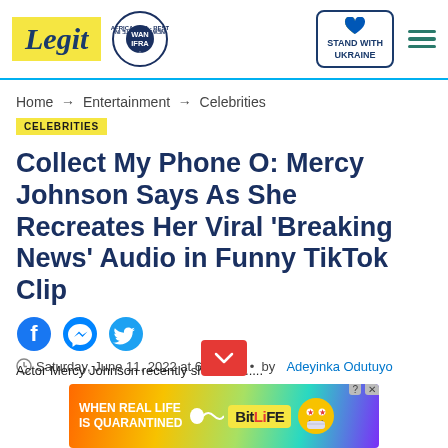Legit — WAN IFRA 2021 Best News Website in Africa — Stand With Ukraine
Home → Entertainment → Celebrities
CELEBRITIES
Collect My Phone O: Mercy Johnson Says As She Recreates Her Viral 'Breaking News' Audio in Funny TikTok Clip
Saturday, June 11, 2022 at 6:07 AM • by Adeyinka Odutuyo
[Figure (infographic): Advertisement banner: BitLife app ad with rainbow gradient background. Text reads 'WHEN REAL LIFE IS QUARANTINED' and 'BitLiFE' logo with emoji characters.]